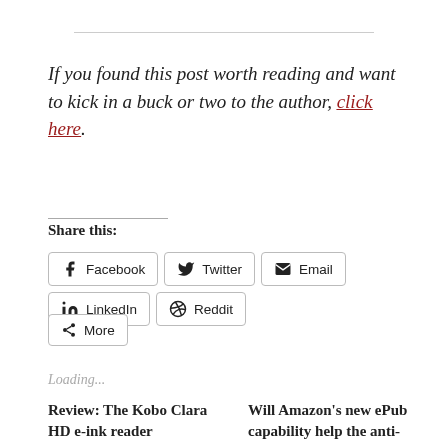If you found this post worth reading and want to kick in a buck or two to the author, click here.
Share this:
Facebook
Twitter
Email
LinkedIn
Reddit
More
Loading...
Review: The Kobo Clara HD e-ink reader
Will Amazon's new ePub capability help the anti-